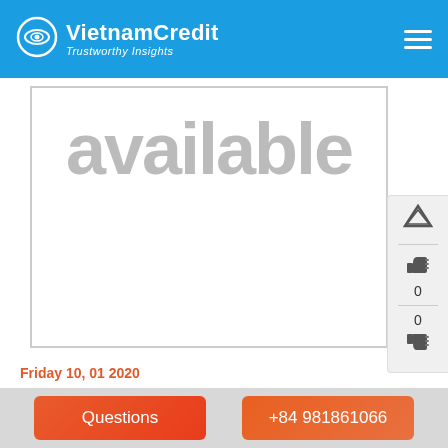VietnamCredit — Trustworthy Insights
[Figure (photo): Placeholder image area with large grey text 'available' visible, bordered box]
Friday 10, 01 2020
Vietnam's sugar manufacturers before ATIGA
The “protective door” of the domestic sugar industry is going to be removed...
Questions
+84 981861066